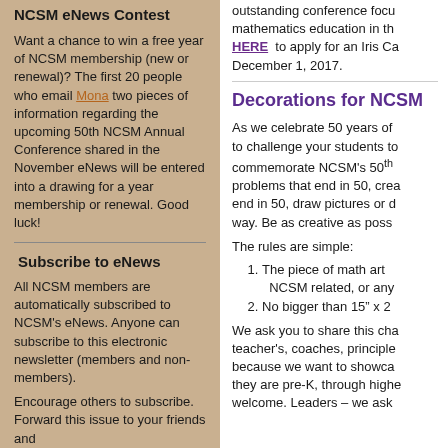NCSM eNews Contest
Want a chance to win a free year of NCSM membership (new or renewal)?  The first 20 people who email Mona two pieces of information regarding the upcoming 50th NCSM Annual Conference shared in the November eNews will be entered into a drawing for a year membership or renewal.  Good luck!
Subscribe to eNews
All NCSM members are automatically subscribed to NCSM's eNews. Anyone can subscribe to this electronic newsletter (members and non-members).
Encourage others to subscribe. Forward this issue to your friends and
outstanding conference focus mathematics education in the HERE  to apply for an Iris Ca December 1, 2017.
Decorations for NCSM
As we celebrate 50 years of to challenge your students to commemorate NCSM's 50th problems that end in 50, crea end in 50, draw pictures or d way.  Be as creative as poss
The rules are simple:
1. The piece of math art NCSM related, or any
2. No bigger than 15" x 2
We ask you to share this cha teacher's, coaches, principle because we want to showca they are pre-K, through highe welcome. Leaders – we ask